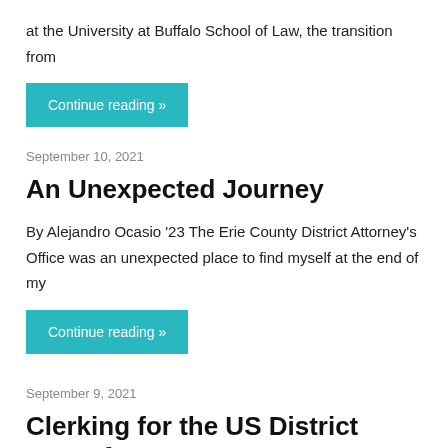at the University at Buffalo School of Law, the transition from
Continue reading »
September 10, 2021
An Unexpected Journey
By Alejandro Ocasio '23 The Erie County District Attorney's Office was an unexpected place to find myself at the end of my
Continue reading »
September 9, 2021
Clerking for the US District Court for